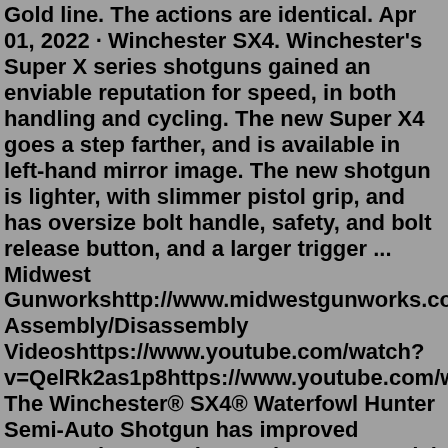Gold line. The actions are identical. Apr 01, 2022 · Winchester SX4. Winchester's Super X series shotguns gained an enviable reputation for speed, in both handling and cycling. The new Super X4 goes a step farther, and is available in left-hand mirror image. The new shotgun is lighter, with slimmer pistol grip, and has oversize bolt handle, safety, and bolt release button, and a larger trigger ... Midwest Gunworkshttp://www.midwestgunworks.comWillwood Assembly/Disassembly Videoshttps://www.youtube.com/watch?v=QelRk2as1p8https://www.youtube.com/watch...Descr The Winchester® SX4® Waterfowl Hunter Semi-Auto Shotgun has improved ergonomics over the previous SX3 model, being slimmer and lighter, with a slightly forward balance point for fluid swinging and follow through. Larger, redesigned operating controls (safety, bolt handle, and bolt release) and a larger trigger guard facilitate ...Nov 06, 2021 · When the bushings fall out the trigger, disconnector, etc all become loose and out of position. At that point you